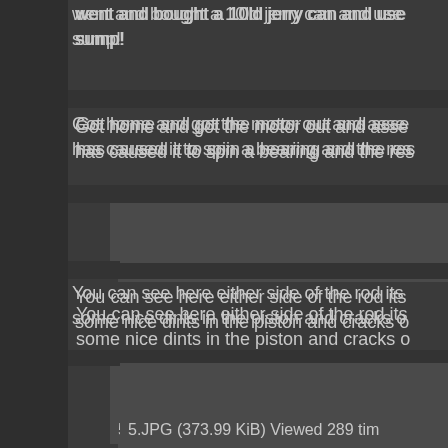went and bought a 10ld jerry can and used sump!
Got home and got the motor out and asse has caused it to spin a bearing and the res
[Figure (photo): Image placeholder - partially visible photo]
You can see here either side of the rod its some nice dints in the piston and cracks o
[Figure (photo): Image placeholder - partially visible photo with caption: 5.JPG (373.99 KiB) Viewed 289 tim]
Clearly this is where the water came from
[Figure (photo): Image placeholder - partially visible photo]
It looks like number 6 bearing wasn't far